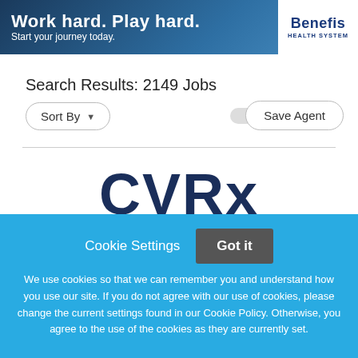[Figure (screenshot): Benefis Health System banner ad with dark blue mountain background, white bold text 'Work hard. Play hard.' and subtitle 'Start your journey today.' with Benefis Health System logo on right.]
Search Results: 2149 Jobs
Sort By ▾
Save Agent
[Figure (logo): CVRx large dark navy bold logo text partially visible]
Cookie Settings
Got it
We use cookies so that we can remember you and understand how you use our site. If you do not agree with our use of cookies, please change the current settings found in our Cookie Policy. Otherwise, you agree to the use of the cookies as they are currently set.